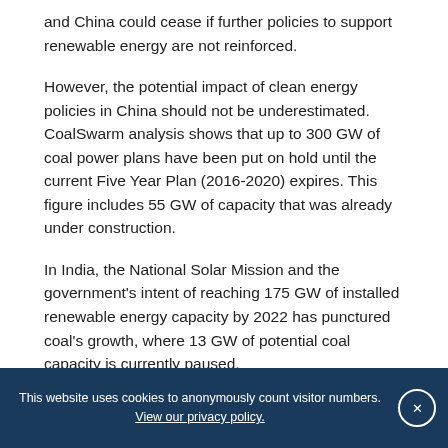and China could cease if further policies to support renewable energy are not reinforced.
However, the potential impact of clean energy policies in China should not be underestimated. CoalSwarm analysis shows that up to 300 GW of coal power plans have been put on hold until the current Five Year Plan (2016-2020) expires. This figure includes 55 GW of capacity that was already under construction.
In India, the National Solar Mission and the government's intent of reaching 175 GW of installed renewable energy capacity by 2022 has punctured coal's growth, where 13 GW of potential coal capacity is currently paused.
This website uses cookies to anonymously count visitor numbers. View our privacy policy. ×